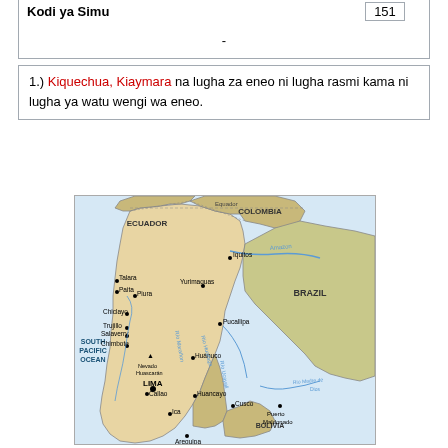| Kodi ya Simu | 151 |
| --- | --- |
| - |  |
1.) Kiquechua, Kiaymara na lugha za eneo ni lugha rasmi kama ni lugha ya watu wengi wa eneo.
[Figure (map): Map of Peru showing cities including Lima, Cusco, Arequipa, Iquitos, Trujillo, Chiclayo, Piura, Pucallipa, Huancayo, and others. Bordering countries shown: Ecuador, Colombia, Brazil, Bolivia. South Pacific Ocean to the west. Amazon River and other rivers labeled.]